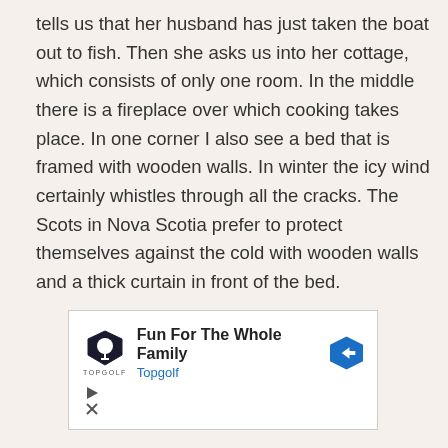tells us that her husband has just taken the boat out to fish. Then she asks us into her cottage, which consists of only one room. In the middle there is a fireplace over which cooking takes place. In one corner I also see a bed that is framed with wooden walls. In winter the icy wind certainly whistles through all the cracks. The Scots in Nova Scotia prefer to protect themselves against the cold with wooden walls and a thick curtain in front of the bed.
[Figure (other): Advertisement banner for Topgolf showing logo, text 'Fun For The Whole Family' and 'Topgolf' in blue, with a blue diamond arrow icon on the right, and play/close controls at the bottom left.]